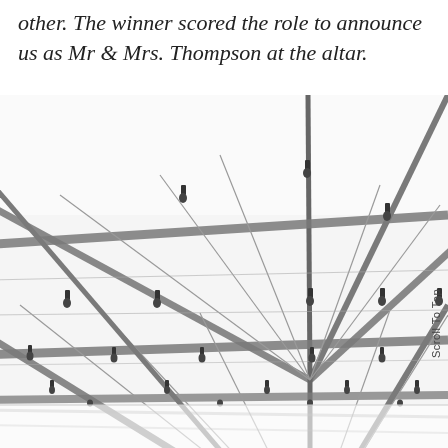other. The winner scored the role to announce us as Mr & Mrs. Thompson at the altar.
[Figure (photo): Looking up at a large tent or marquee structure from below, showing the metal frame poles and cross-bracing ribs converging at central apex points, with hanging Edison bulb string lights suspended throughout. The metal structure is grey/silver against a bright white sky. There is a reflection visible at the bottom of the image.]